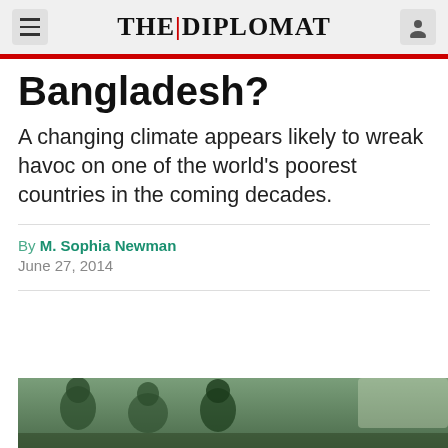THE DIPLOMAT
Bangladesh?
A changing climate appears likely to wreak havoc on one of the world's poorest countries in the coming decades.
By M. Sophia Newman
June 27, 2014
[Figure (photo): Photo of people, partially visible at bottom of page]